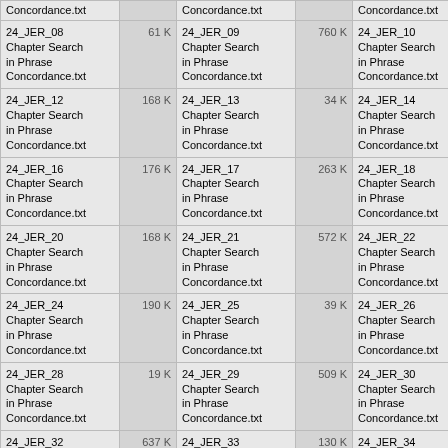| Concordance.txt |  | Concordance.txt |  | Concordance.txt |  |
| 24_JER_08 Chapter Search in Phrase Concordance.txt | 61 K | 24_JER_09 Chapter Search in Phrase Concordance.txt | 760 K | 24_JER_10 Chapter Search in Phrase Concordance.txt | 49 K |
| 24_JER_12 Chapter Search in Phrase Concordance.txt | 168 K | 24_JER_13 Chapter Search in Phrase Concordance.txt | 34 K | 24_JER_14 Chapter Search in Phrase Concordance.txt | 77 K |
| 24_JER_16 Chapter Search in Phrase Concordance.txt | 176 K | 24_JER_17 Chapter Search in Phrase Concordance.txt | 263 K | 24_JER_18 Chapter Search in Phrase Concordance.txt | 76 K |
| 24_JER_20 Chapter Search in Phrase Concordance.txt | 168 K | 24_JER_21 Chapter Search in Phrase Concordance.txt | 572 K | 24_JER_22 Chapter Search in Phrase Concordance.txt | 389 K |
| 24_JER_24 Chapter Search in Phrase Concordance.txt | 190 K | 24_JER_25 Chapter Search in Phrase Concordance.txt | 39 K | 24_JER_26 Chapter Search in Phrase Concordance.txt | 456 K |
| 24_JER_28 Chapter Search in Phrase Concordance.txt | 19 K | 24_JER_29 Chapter Search in Phrase Concordance.txt | 509 K | 24_JER_30 Chapter Search in Phrase Concordance.txt | 371 K |
| 24_JER_32 Chapter Search in Phrase Concordance.txt | 637 K | 24_JER_33 Chapter Search in Phrase Concordance.txt | 130 K | 24_JER_34 Chapter Search in Phrase Concordance.txt | 606 K |